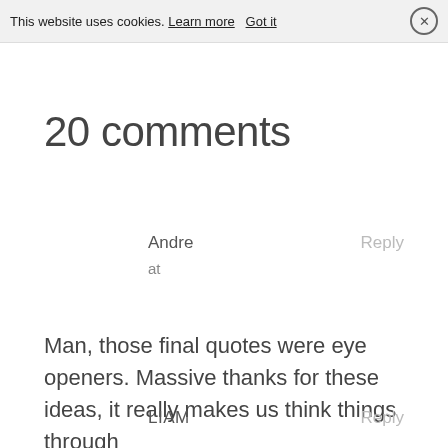This website uses cookies. Learn more   Got it  ✕
20 comments
Andre
at
Reply
Man, those final quotes were eye openers. Massive thanks for these ideas, it really makes us think things through
LIAM
Reply